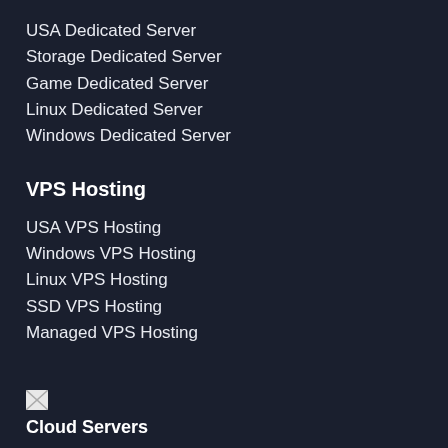USA Dedicated Server
Storage Dedicated Server
Game Dedicated Server
Linux Dedicated Server
Windows Dedicated Server
VPS Hosting
USA VPS Hosting
Windows VPS Hosting
Linux VPS Hosting
SSD VPS Hosting
Managed VPS Hosting
[Figure (illustration): Broken image icon for Cloud Servers section]
Cloud Servers